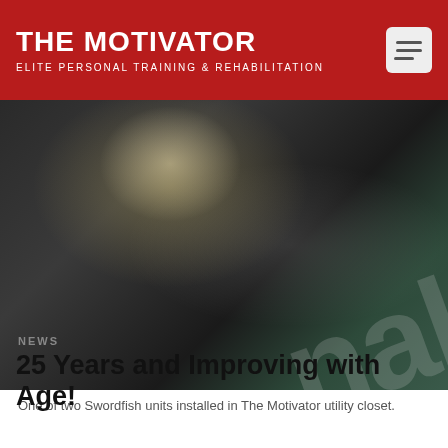THE MOTIVATOR
ELITE PERSONAL TRAINING & REHABILITATION
[Figure (photo): Blurry photo of two Swordfish units installed in a utility closet, dark background with teal/green equipment visible]
One of two Swordfish units installed in The Motivator utility closet.
NEWS
25 Years and Improving with Age!